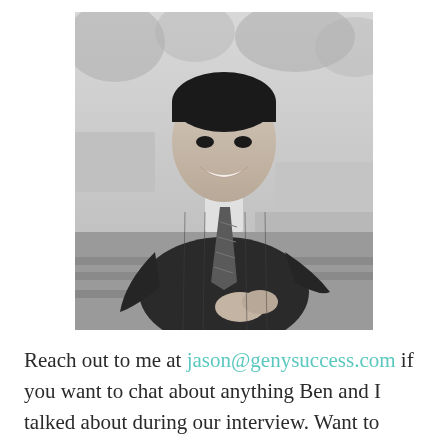[Figure (photo): Black and white photograph of a young Asian man in a pinstripe suit and striped tie, smiling and sitting outdoors on what appears to be a wooden deck or bench area, with a garden/park setting in the background.]
Reach out to me at jason@genysuccess.com if you want to chat about anything Ben and I talked about during our interview. Want to